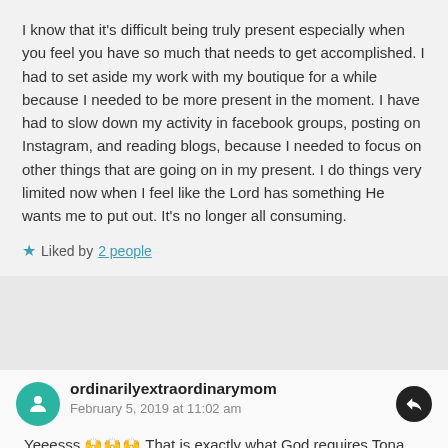I know that it's difficult being truly present especially when you feel you have so much that needs to get accomplished. I had to set aside my work with my boutique for a while because I needed to be more present in the moment. I have had to slow down my activity in facebook groups, posting on Instagram, and reading blogs, because I needed to focus on other things that are going on in my present. I do things very limited now when I feel like the Lord has something He wants me to put out. It's no longer all consuming.
Liked by 2 people
ordinarilyextraordinarymom
February 5, 2019 at 11:02 am
Yeeesss 🙌🙌🙌 That is exactly what God requires Tona. The numbers are not the end goal.